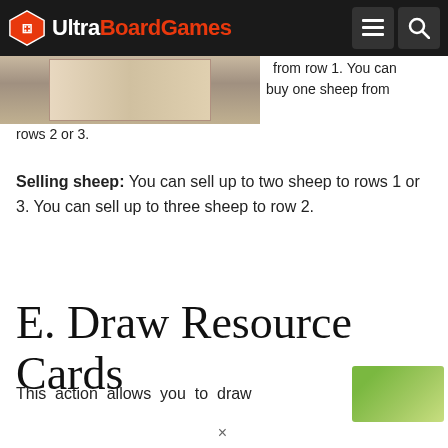UltraBoardGames
[Figure (photo): Partial photo of board game components, cropped at top of page]
from row 1. You can buy one sheep from rows 2 or 3.
Selling sheep: You can sell up to two sheep to rows 1 or 3. You can sell up to three sheep to row 2.
E. Draw Resource Cards
This action allows you to draw
[Figure (photo): Small green card image thumbnail]